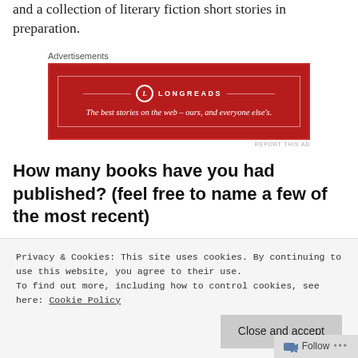and a collection of literary fiction short stories in preparation.
[Figure (other): Longreads advertisement banner. Red background with white border. Logo and tagline: 'The best stories on the web – ours, and everyone else's.']
How many books have you had published? (feel free to name a few of the most recent)
Just one at the moment, although the sequel is out in summer. I'm also having stories
Privacy & Cookies: This site uses cookies. By continuing to use this website, you agree to their use.
To find out more, including how to control cookies, see here: Cookie Policy
Close and accept